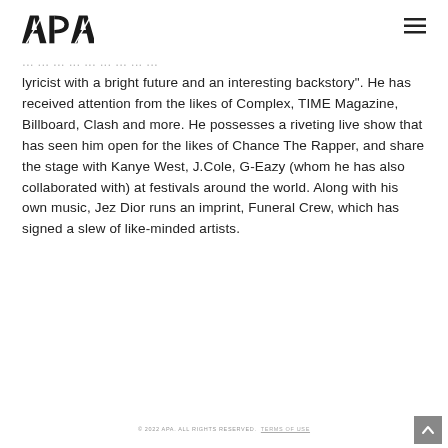APA [logo] [hamburger menu]
lyricist with a bright future and an interesting backstory". He has received attention from the likes of Complex, TIME Magazine, Billboard, Clash and more. He possesses a riveting live show that has seen him open for the likes of Chance The Rapper, and share the stage with Kanye West, J.Cole, G-Eazy (whom he has also collaborated with) at festivals around the world. Along with his own music, Jez Dior runs an imprint, Funeral Crew, which has signed a slew of like-minded artists.
© 2022 APA. ALL RIGHTS RESERVED. TERMS OF USE